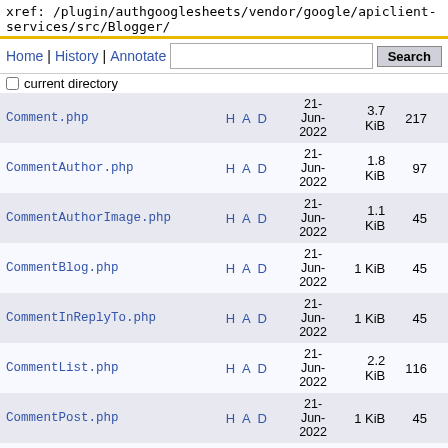xref: /plugin/authgooglesheets/vendor/google/apiclient-services/src/Blogger/
Home | History | Annotate  [search box]  Search  current directory
| Filename | H A D | Date | Size | Lines |
| --- | --- | --- | --- | --- |
| Comment.php | H A D | 21-Jun-2022 | 3.7 KiB | 217 |
| CommentAuthor.php | H A D | 21-Jun-2022 | 1.8 KiB | 97 |
| CommentAuthorImage.php | H A D | 21-Jun-2022 | 1.1 KiB | 45 |
| CommentBlog.php | H A D | 21-Jun-2022 | 1 KiB | 45 |
| CommentInReplyTo.php | H A D | 21-Jun-2022 | 1 KiB | 45 |
| CommentList.php | H A D | 21-Jun-2022 | 2.2 KiB | 116 |
| CommentPost.php | H A D | 21-Jun-2022 | 1 KiB | 45 |
| Page.php | H A D | 21-Jun-2022 | 3.7 KiB | 239 |